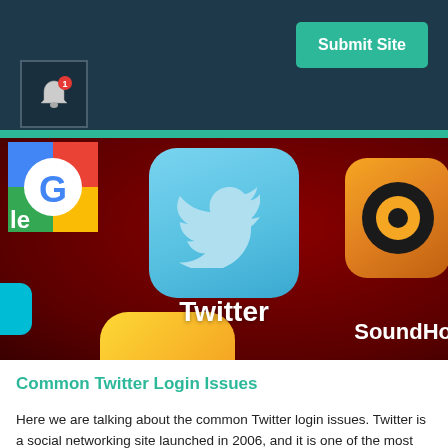Submit Site
[Figure (screenshot): Close-up photo of a smartphone screen showing app icons including Twitter (blue bird icon on light blue rounded square), partial Google icon (top left), SoundHound icon (yellow/orange, bottom right), and other app icons on a dark red background. The Twitter app label is visible in white text, and 'SoundHo' (SoundHound) label visible bottom right.]
Common Twitter Login Issues
Here we are talking about the common Twitter login issues. Twitter is a social networking site launched in 2006, and it is one of the most